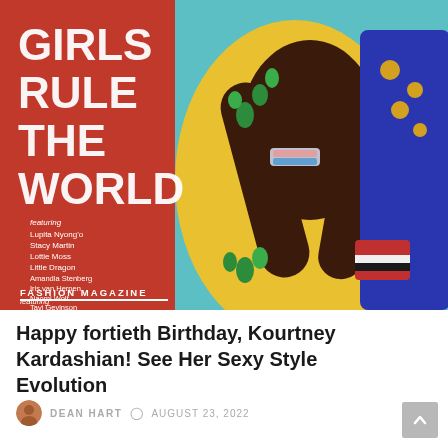[Figure (photo): Fashion magazine cover showing 'GIRLS RULE THE WORLD' title in large white bold text on red background. A model in a yellow jeweled dress poses with a blue embellished jacket. The cover lists featured names including Lupita Nyong'o, Stacy Martin, Lottie Moss, Little Dragon, Amandla Stenberg, Iris van Herpen, Naomi Wolf, Tavi Gevinson, Collier Schorr, Petra Collins, Femen, Evie Wyld. Bottom left shows 'FASHION MAGAZINE' label.]
Happy fortieth Birthday, Kourtney Kardashian! See Her Sexy Style Evolution
DEAN HART  AUGUST 23, 2022